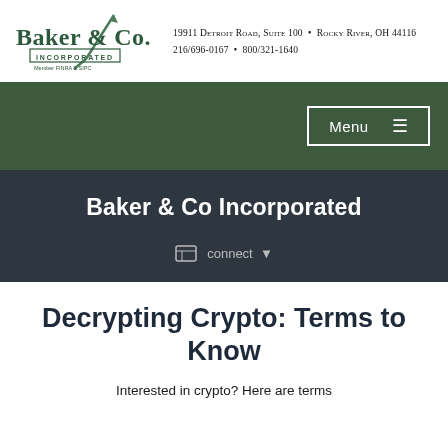[Figure (logo): Baker & Co. Incorporated logo with green arrow graphic, 'INCORPORATED' box, and 'Member FINRA & SIPC' text]
19911 Detroit Road, Suite 100 • Rocky River, OH 44116
216/696-0167 • 800/321-1640
Menu ☰
Baker & Co Incorporated
connect ▼
Decrypting Crypto: Terms to Know
Interested in crypto? Here are terms